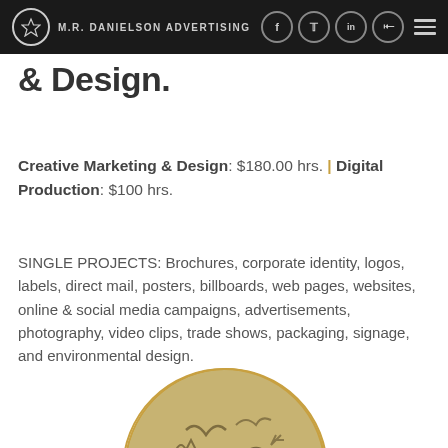M.R. DANIELSON ADVERTISING
& Design.
Creative Marketing & Design: $180.00 hrs. | Digital Production: $100 hrs.
SINGLE PROJECTS: Brochures, corporate identity, logos, labels, direct mail, posters, billboards, web pages, websites, online & social media campaigns, advertisements, photography, video clips, trade shows, packaging, signage, and environmental design.
[Figure (photo): Circular framed photo of ancient coin or pottery with inscribed symbols and markings, bordered by a thin gold circle outline.]